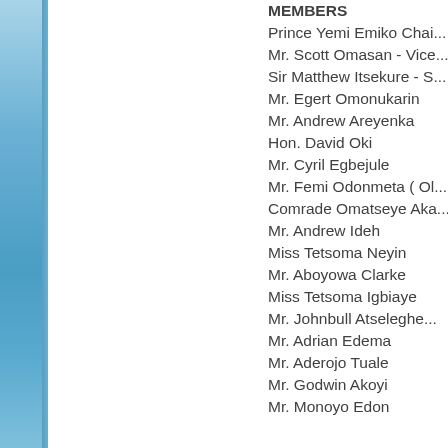MEMBERS
Prince Yemi Emiko Chai...
Mr. Scott Omasan - Vice...
Sir Matthew Itsekure - S...
Mr. Egert Omonukarin
Mr. Andrew Areyenka
Hon. David Oki
Mr. Cyril Egbejule
Mr. Femi Odonmeta ( Ol...
Comrade Omatseye Aka...
Mr. Andrew Ideh
Miss Tetsoma Neyin
Mr. Aboyowa Clarke
Miss Tetsoma Igbiaye
Mr. Johnbull Atseleghe...
Mr. Adrian Edema
Mr. Aderojo Tuale
Mr. Godwin Akoyi
Mr. Monoyo Edon